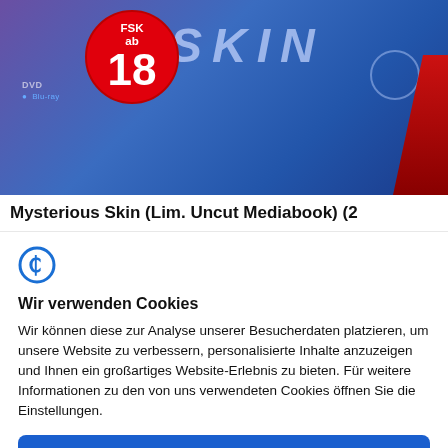[Figure (photo): DVD/Blu-ray box of 'Mysterious Skin' with FSK 18 age rating badge visible on a blue/purple background]
Mysterious Skin (Lim. Uncut Mediabook) (2
[Figure (logo): Usercentrics cookie consent logo - stylized C icon in blue]
Wir verwenden Cookies
Wir können diese zur Analyse unserer Besucherdaten platzieren, um unsere Website zu verbessern, personalisierte Inhalte anzuzeigen und Ihnen ein großartiges Website-Erlebnis zu bieten. Für weitere Informationen zu den von uns verwendeten Cookies öffnen Sie die Einstellungen.
Ok, mach weiter
Ablehnen
Nein, passen Sie an